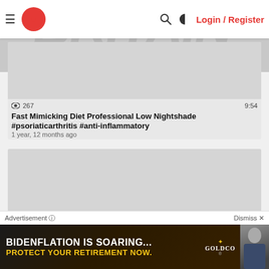Login / Register
[Figure (screenshot): Video thumbnail placeholder (gray rectangle)]
267   9:54
Fast Mimicking Diet Professional Low Nightshade #psoriaticarthritis #anti-inflammatory
1 year, 12 months ago
[Figure (screenshot): Second video thumbnail placeholder (gray rectangle)]
491   2:41
Advertisement
Dismiss ✕
[Figure (infographic): Advertisement banner: BIDENFLATION IS SOARING... PROTECT YOUR RETIREMENT NOW. GOLDCO]